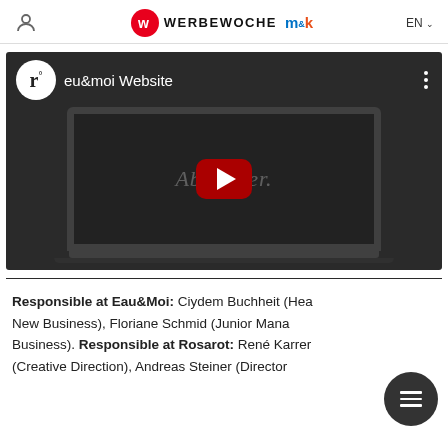WERBEWOCHE m&k EN
[Figure (screenshot): YouTube video thumbnail showing 'eu&moi Website' with a laptop screen displaying partial text 'Abe...ser.' and a YouTube play button overlay on dark background]
Responsible at Eau&Moi: Ciydem Buchheit (Head New Business), Floriane Schmid (Junior Manager New Business). Responsible at Rosarot: René Karrer (Creative Direction), Andreas Steiner (Director